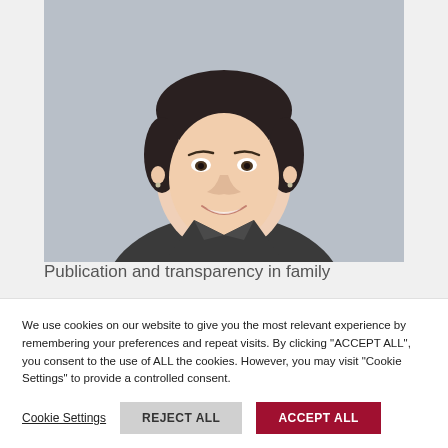[Figure (photo): Professional headshot of a young woman with dark hair pulled back, smiling, wearing a dark blazer, against a grey background]
Publication and transparency in family
We use cookies on our website to give you the most relevant experience by remembering your preferences and repeat visits. By clicking "ACCEPT ALL", you consent to the use of ALL the cookies. However, you may visit "Cookie Settings" to provide a controlled consent.
Cookie Settings
REJECT ALL
ACCEPT ALL